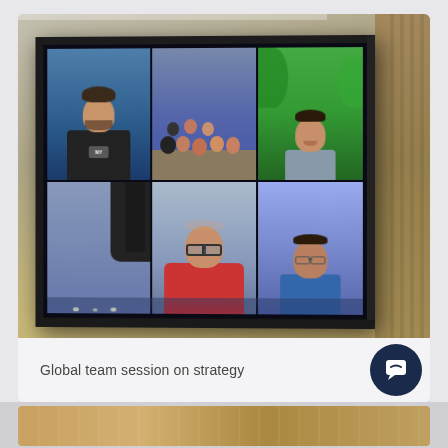[Figure (photo): A large flat-screen TV mounted on a beige/cream wall in a room, displaying a video conference call with multiple participants arranged in a 2x3 grid on screen. Top row shows: a man in a black t-shirt against a blue background, a group of people seated around a table, and a man smiling with green plants behind him. Bottom row shows: a man in a red shirt with glasses, and a man in a blue shirt.]
Global team session on strategy